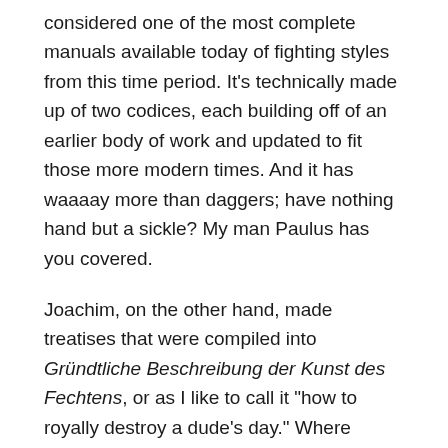considered one of the most complete manuals available today of fighting styles from this time period. It's technically made up of two codices, each building off of an earlier body of work and updated to fit those more modern times. And it has waaaay more than daggers; have nothing hand but a sickle? My man Paulus has you covered.
Joachim, on the other hand, made treatises that were compiled into Gründtliche Beschreibung der Kunst des Fechtens, or as I like to call it "how to royally destroy a dude's day." Where Paulus compiled what was there, Joachim decided to reinvent the wheel. Kind of.
Regardless, each of these sources provide thorough instructions, and in some cases, pictures, that have been used by SCA enthusiasts looking for that